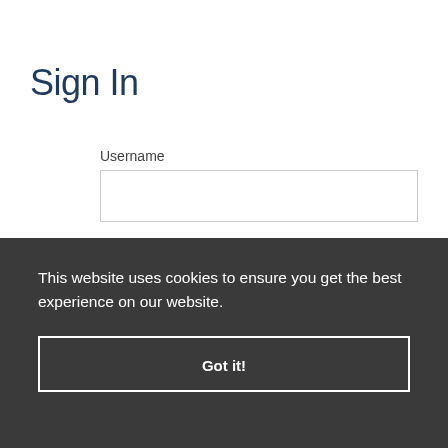Sign In
Username
Password
This website uses cookies to ensure you get the best experience on our website.
Got it!